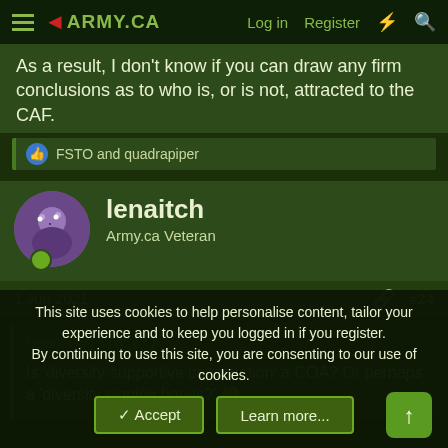ARMY.CA — Log in | Register
As a result, I don't know if you can draw any firm conclusions as to who is, or is not, attracted to the CAF.
FSTO and quadrapiper
lenaitch
Army.ca Veteran
1 Jun 2021
#24
Good2Golf said:
Is 'diversity-supportive conscription' a COA? Or perhaps a 'diversity signing bonus?'
This site uses cookies to help personalise content, tailor your experience and to keep you logged in if you register.
By continuing to use this site, you are consenting to our use of cookies.
Accept | Learn more...